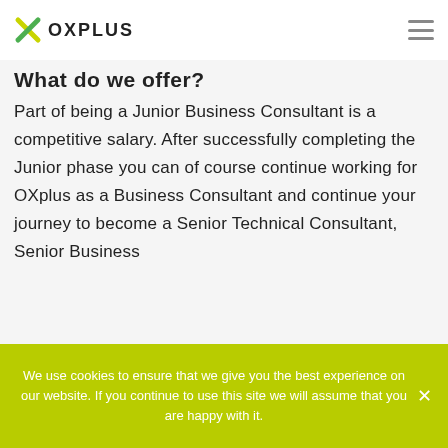OXPLUS
What do we offer?
Part of being a Junior Business Consultant is a competitive salary. After successfully completing the Junior phase you can of course continue working for OXplus as a Business Consultant and continue your journey to become a Senior Technical Consultant, Senior Business Consultant or Senior Partner.
We use cookies to ensure that we give you the best experience on our website. If you continue to use this site we will assume that you are happy with it.